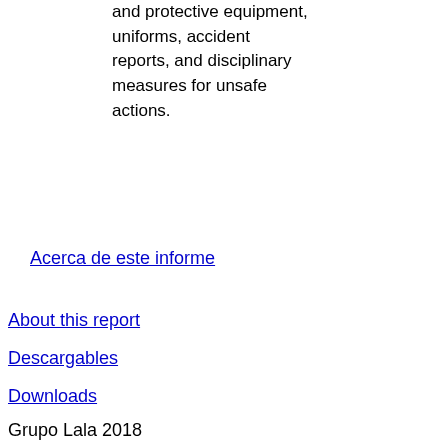and protective equipment, uniforms, accident reports, and disciplinary measures for unsafe actions.
Acerca de este informe
About this report
Descargables
Downloads
Grupo Lala 2018